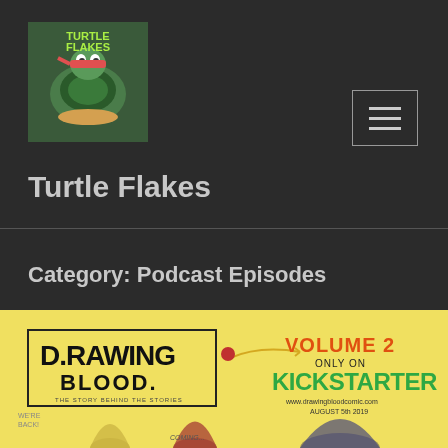[Figure (logo): Turtle Flakes logo — cartoon TMNT-style turtle eating cereal with colorful comic art style]
Turtle Flakes
Category: Podcast Episodes
[Figure (illustration): Drawing Blood Volume 2 Kickstarter banner — yellow background with comic characters fighting; text reads DRAWING BLOOD VOLUME 2 ONLY ON KICKSTARTER www.drawingbloodcomic.com AUGUST 5th 2019]